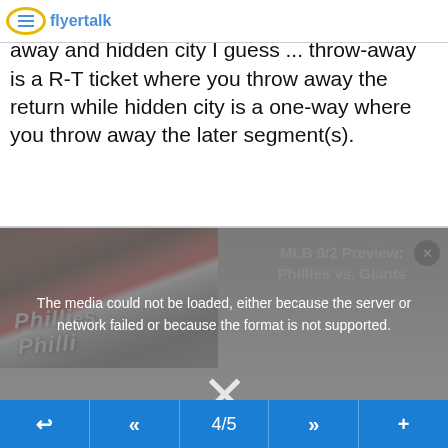flyertalk
That may be the difference between throw-away and hidden city I guess ... throw-away is a R-T ticket where you throw away the return while hidden city is a one-way where you throw away the later segment(s).
[Figure (screenshot): Media player error overlay showing 'The media could not be loaded, either because the server or network failed or because the format is not supported.' over a photo of Philadelphia Phillies baseball players. Background shows MLB 9/2 Preview: Phillies vs. Giants text. A large X close symbol is visible in the center-bottom of the overlay.]
◄  «  4/5  »  +